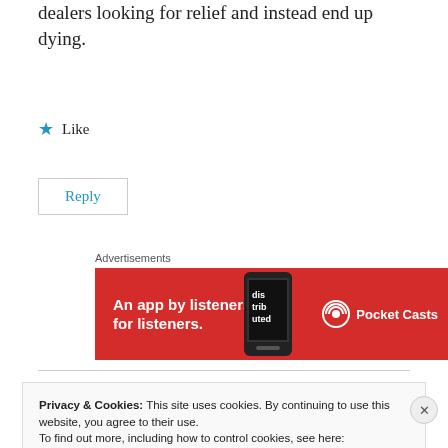dealers looking for relief and instead end up dying.
★ Like
Reply
[Figure (infographic): Pocket Casts advertisement banner. Red background with white text: 'An app by listeners, for listeners.' Phone image in center, Pocket Casts logo and name on right.]
Privacy & Cookies: This site uses cookies. By continuing to use this website, you agree to their use.
To find out more, including how to control cookies, see here:
Cookie Policy
Close and accept